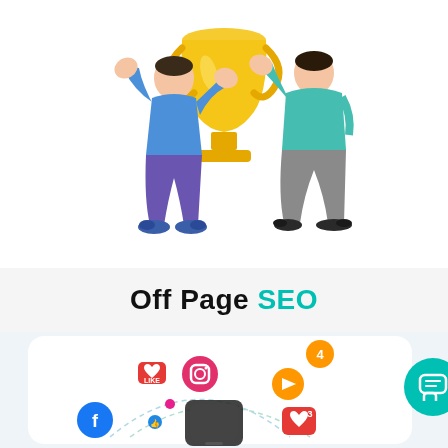[Figure (illustration): Two cartoon figures holding/passing a large golden trophy between them. Left figure wears blue top and purple pants, right figure wears teal top and gray pants.]
Off Page SEO
[Figure (illustration): Social media marketing infographic showing a smartphone at center surrounded by floating social media icons (Facebook, Instagram, heart/like icons, play button, camera, etc.) connected by dashed arc lines. An orange notification badge shows '4', a red heart badge shows '3'. A teal chat bubble button appears on the right edge.]